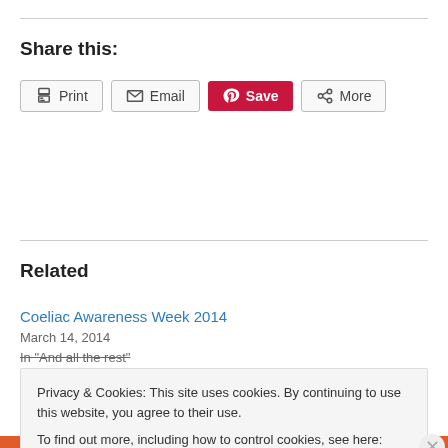Share this:
Print  Email  Save  More
Related
Coeliac Awareness Week 2014
March 14, 2014
In "And all the rest"
Privacy & Cookies: This site uses cookies. By continuing to use this website, you agree to their use.
To find out more, including how to control cookies, see here: Cookie Policy
Close and accept